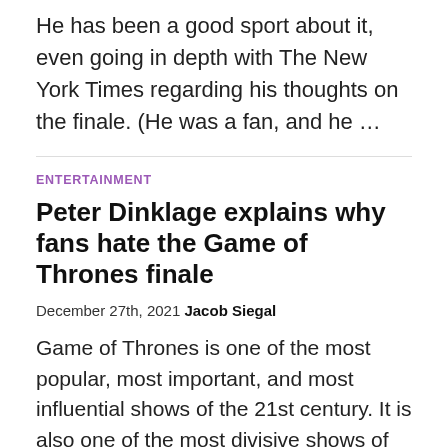He has been a good sport about it, even going in depth with The New York Times regarding his thoughts on the finale. (He was a fan, and he …
ENTERTAINMENT
Peter Dinklage explains why fans hate the Game of Thrones finale
December 27th, 2021 Jacob Siegal
Game of Thrones is one of the most popular, most important, and most influential shows of the 21st century. It is also one of the most divisive shows of all time, due in large part to its controversial final season. Audiences were disappointed, as evidenced by the fairly precipitous dip in ratings on Rotten Tomatoes …